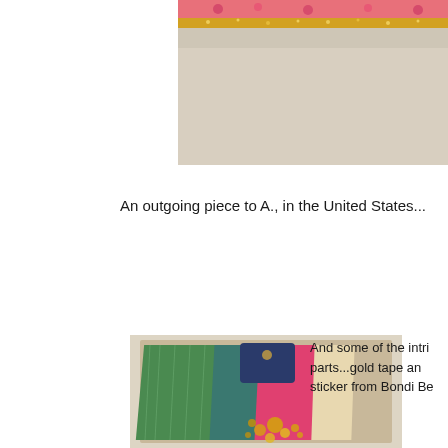[Figure (photo): Close-up photo of a decorative art piece with gold glitter trim, pink floral pattern, and colorful washi tape strips visible on a kraft board background.]
An outgoing piece to A., in the United States...
[Figure (photo): Close-up angled photo of a decorative mail art piece or altered art book showing colorful fan-shaped paper strips in green, teal, pink and cream tones with gold glitter accents at the corner, on kraft/cardboard background. A navy blue tag/sticker is partially visible at the top.]
And some of the intri parts...gold tape an sticker from Bondi Be